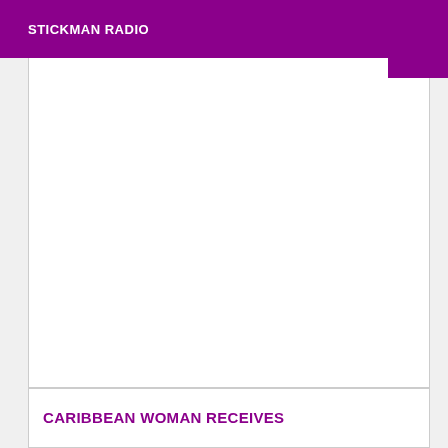STICKMAN RADIO
[Figure (photo): White/blank image area below the Stickman Radio purple header bar, representing a photo or media content placeholder]
CARIBBEAN WOMAN RECEIVES